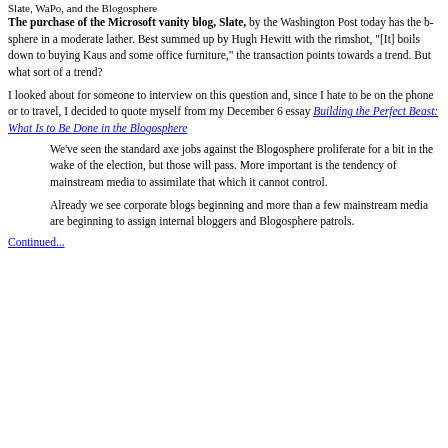Slate, WaPo, and the Blogosphere
The purchase of the Microsoft vanity blog, Slate, by the Washington Post today has the b-sphere in a moderate lather. Best summed up by Hugh Hewitt with the rimshot, "[It] boils down to buying Kaus and some office furniture," the transaction points towards a trend. But what sort of a trend?
I looked about for someone to interview on this question and, since I hate to be on the phone or to travel, I decided to quote myself from my December 6 essay Building the Perfect Beast: What Is to Be Done in the Blogosphere
We've seen the standard axe jobs against the Blogosphere proliferate for a bit in the wake of the election, but those will pass. More important is the tendency of mainstream media to assimilate that which it cannot control.
Already we see corporate blogs beginning and more than a few mainstream media are beginning to assign internal bloggers and Blogosphere patrols.
Continued...